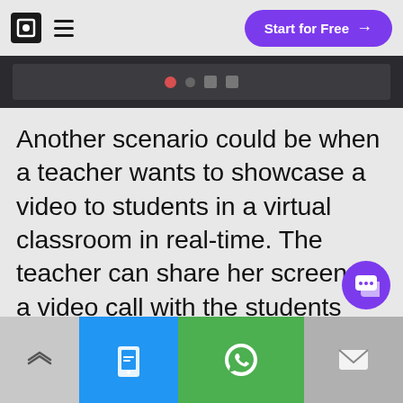Start for Free →
[Figure (screenshot): Partial screenshot of a video call interface with a dark toolbar showing recording controls]
Another scenario could be when a teacher wants to showcase a video to students in a virtual classroom in real-time. The teacher can share her screen in a video call with the students and get on an engaging discussion with her students. Bringing in engagement in real-time
Share | SMS | WhatsApp | Mail